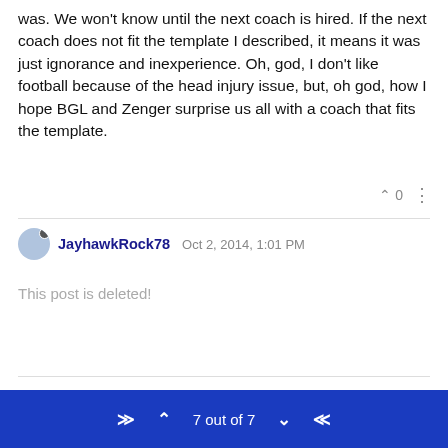was. We won't know until the next coach is hired. If the next coach does not fit the template I described, it means it was just ignorance and inexperience. Oh, god, I don't like football because of the head injury issue, but, oh god, how I hope BGL and Zenger surprise us all with a coach that fits the template.
JayhawkRock78  Oct 2, 2014, 1:01 PM
This post is deleted!
Log in to reply
7 out of 7